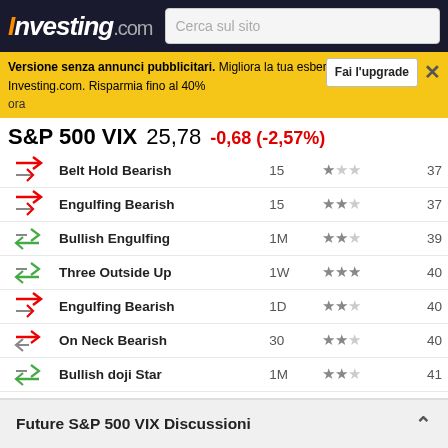Investing.com | Cerca sul sito
Versione senza annunci pubblicitari. Migliora la tua esperienza con Investing.com. Risparmia fino al 40% | Fai l'upgrade | ora
S&P 500 VIX  25,78  -0,68 (-2,57%)
| Icon | Pattern | Period | Stars | Score |
| --- | --- | --- | --- | --- |
| ↘ | Belt Hold Bearish | 15 | ★☆☆ | 37 |
| ↘ | Engulfing Bearish | 15 | ★★☆ | 37 |
| ↗ | Bullish Engulfing | 1M | ★★☆ | 39 |
| ↗ | Three Outside Up | 1W | ★★★ | 40 |
| ↘ | Engulfing Bearish | 1D | ★★☆ | 40 |
| ↘ | On Neck Bearish | 30 | ★★☆ | 40 |
| ↗ | Bullish doji Star | 1M | ★★☆ | 41 |
| ↗ | Harami Cross | 1D | ★☆☆ | 41 |
| ↗ | Three Inside Up | 5H | ★★★ | 42 |
| ↘ | Belt Hold Bearish | 15 | ★☆☆ | 43 |
| ↘ | Engulfing Bearish | 15 | ★★☆ | 43 |
| ↘ | Engulfing Bearish | 1D | ★★☆ | 44 |
| ↗ | Bullish d... | ... | ★★☆ | ... |
| ↘ | Belt Hold | ... | ... | ... |
Future S&P 500 VIX Discussioni